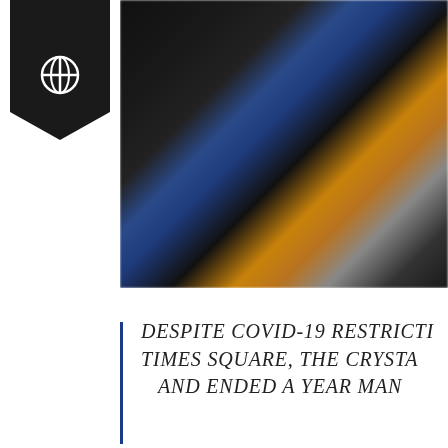[Figure (logo): Black banner/ribbon bookmark shape with a globe/crosshair icon in white, positioned top-left corner]
[Figure (photo): Dark, blurry indoor scene in Times Square area with blue and golden/amber colored background elements visible, largely obscured in shadow]
DESPITE COVID-19 RESTRICTI... TIMES SQUARE, THE CRYSTA... AND ENDED A YEAR MAN...